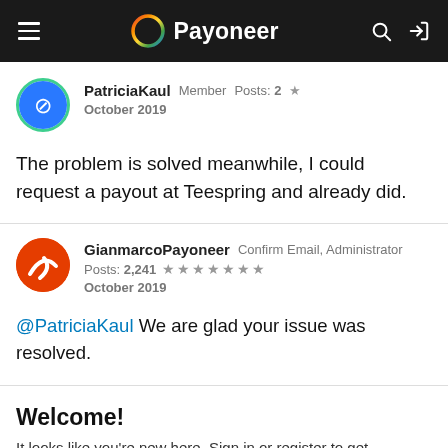Payoneer
PatriciaKaul  Member  Posts: 2  ★
October 2019
The problem is solved meanwhile, I could request a payout at Teespring and already did.
GianmarcoPayoneer  Confirm Email, Administrator
Posts: 2,241  ★★★★★★★
October 2019
@PatriciaKaul We are glad your issue was resolved.
Welcome!
It looks like you're new here. Sign in or register to get